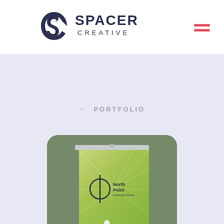[Figure (logo): Spacer Creative logo — stylized S/C monogram in dark navy with 'SPACER CREATIVE' wordmark]
[Figure (infographic): Hamburger menu icon — two red/coral horizontal bars]
← PORTFOLIO
[Figure (photo): Mockup of a green roll-up banner stand showing the North Point church logo (cross in circle) and 'North Point' text, with a floral/cricket illustration at the bottom, set against an olive-green rounded rectangle card]